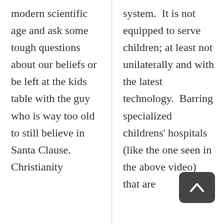modern scientific age and ask some tough questions about our beliefs or be left at the kids table with the guy who is way too old to still believe in Santa Clause. Christianity
system. It is not equipped to serve children; at least not unilaterally and with the latest technology. Barring specialized childrens' hospitals (like the one seen in the above video) that are